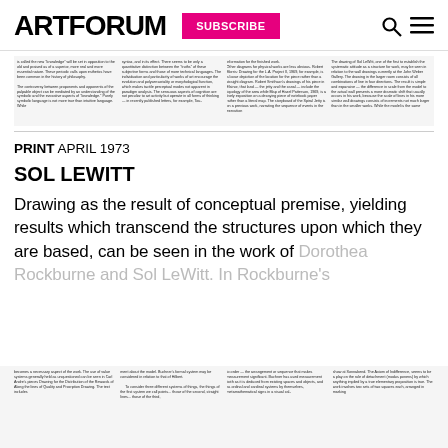ARTFORUM | SUBSCRIBE
[Figure (screenshot): Scanned article page with four columns of small text from an Artforum article, partially visible at the top of the page]
PRINT APRIL 1973
SOL LEWITT
Drawing as the result of conceptual premise, yielding results which transcend the structures upon which they are based, can be seen in the work of Dorothea Rockburne and Sol LeWitt. In Rockburne's
[Figure (screenshot): Scanned article page with four columns of small text from an Artforum article, partially visible at the bottom of the page]